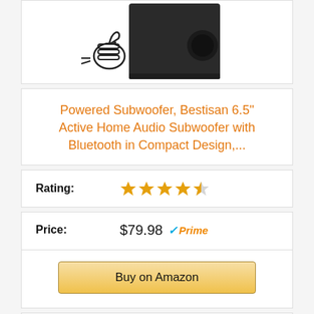[Figure (photo): Product photo of a Bestisan powered subwoofer (dark/black box speaker with port) with a thumbs-up cartoon icon overlay]
Powered Subwoofer, Bestisan 6.5" Active Home Audio Subwoofer with Bluetooth in Compact Design,...
Rating: ★★★★☆
Price: $79.98 ✓Prime
Buy on Amazon
Bestseller No. 2